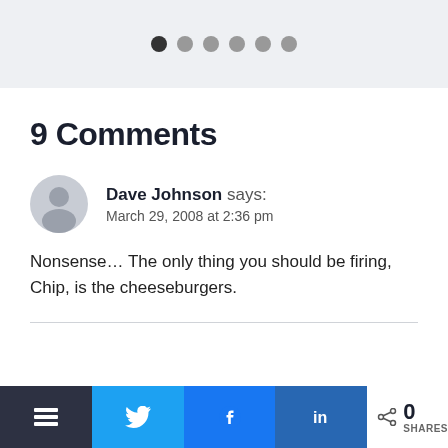[Figure (other): Pagination dots indicator: 6 circles, first one dark/filled, rest gray]
9 Comments
Dave Johnson says:
March 29, 2008 at 2:36 pm
Nonsense… The only thing you should be firing, Chip, is the cheeseburgers.
[Figure (other): Social share bar with Buffer, Twitter, Facebook, LinkedIn buttons and 0 SHARES count]